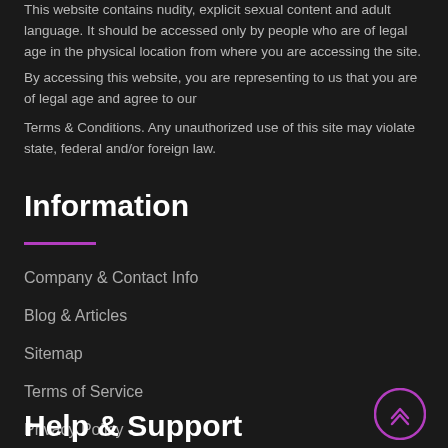This website contains nudity, explicit sexual content and adult language. It should be accessed only by people who are of legal age in the physical location from where you are accessing the site.
By accessing this website, you are representing to us that you are of legal age and agree to our
Terms & Conditions. Any unauthorized use of this site may violate state, federal and/or foreign law.
Information
Company & Contact Info
Blog & Articles
Sitemap
Terms of Service
Privacy Policy
Help & Support